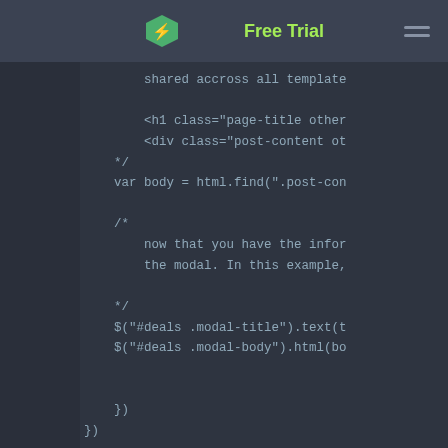Free Trial
shared accross all template

<h1 class="page-title other
<div class="post-content ot
*/
var body = html.find(".post-con

/*
    now that you have the infor
    the modal. In this example,

*/
$("#deals .modal-title").text(t
$("#deals .modal-body").html(bo


})
})